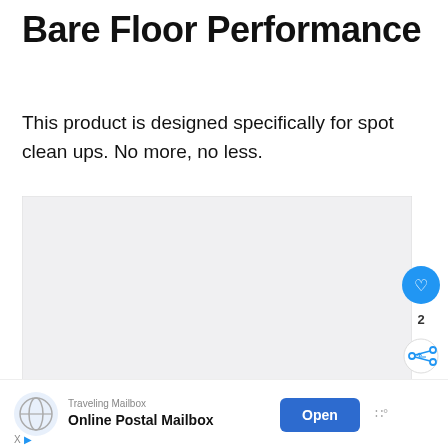Bare Floor Performance
This product is designed specifically for spot clean ups. No more, no less.
[Figure (other): Large blank light-gray rectangular image placeholder area]
[Figure (other): UI overlay showing a blue heart/like button, like count of 2, and a share button]
[Figure (other): Advertisement banner for Traveling Mailbox - Online Postal Mailbox with Open button and mute icon]